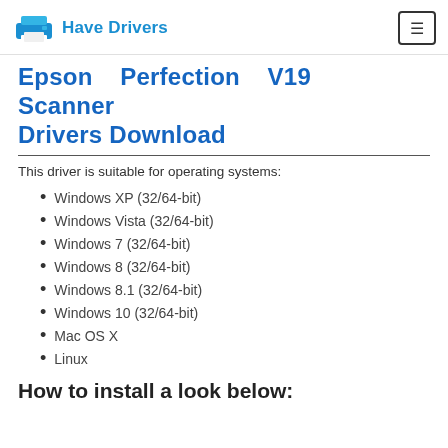Have Drivers
Epson Perfection V19 Scanner Drivers Download
This driver is suitable for operating systems:
Windows XP (32/64-bit)
Windows Vista (32/64-bit)
Windows 7 (32/64-bit)
Windows 8 (32/64-bit)
Windows 8.1 (32/64-bit)
Windows 10 (32/64-bit)
Mac OS X
Linux
How to install a look below: